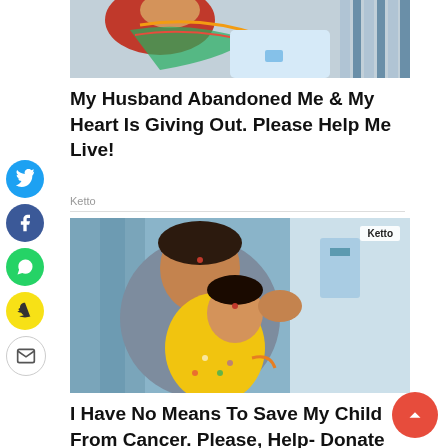[Figure (photo): Photo of a woman in hospital setting with colorful clothing, partially visible at top of page]
My Husband Abandoned Me & My Heart Is Giving Out. Please Help Me Live!
Ketto
[Figure (photo): Photo of a mother holding a young child in a hospital setting with blue curtains in the background. A 'Ketto' watermark is visible in the upper right corner of the photo.]
I Have No Means To Save My Child From Cancer. Please, Help- Donate